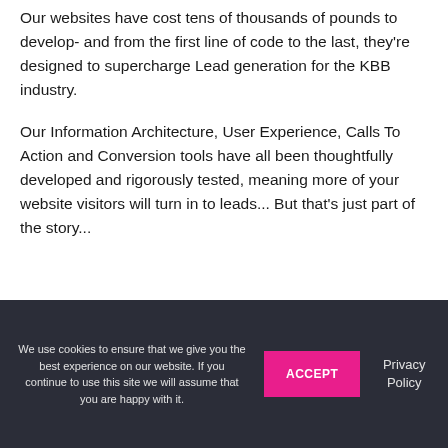Our websites have cost tens of thousands of pounds to develop- and from the first line of code to the last, they're designed to supercharge Lead generation for the KBB industry.
Our Information Architecture, User Experience, Calls To Action and Conversion tools have all been thoughtfully developed and rigorously tested, meaning more of your website visitors will turn in to leads... But that's just part of the story...
We use cookies to ensure that we give you the best experience on our website. If you continue to use this site we will assume that you are happy with it.
ACCEPT
Privacy Policy